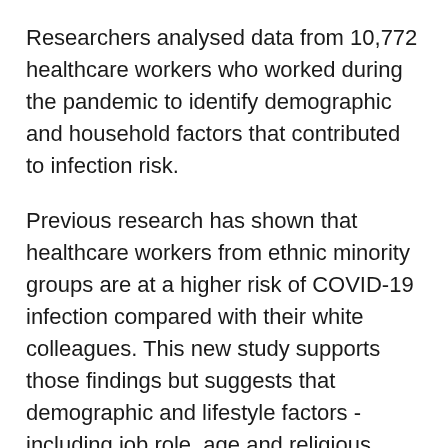Researchers analysed data from 10,772 healthcare workers who worked during the pandemic to identify demographic and household factors that contributed to infection risk.
Previous research has shown that healthcare workers from ethnic minority groups are at a higher risk of COVID-19 infection compared with their white colleagues. This new study supports those findings but suggests that demographic and lifestyle factors - including job role, age and religious belief - accounted for the difference in risk.
Results from the UK-REACH study, co-funded by the NIHR and UK Research and Innovation, showed that healthcare workers' risk of catching coronavirus